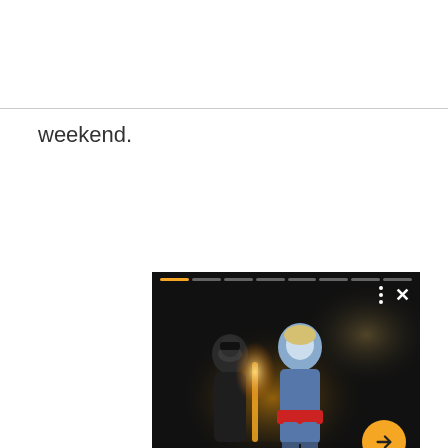weekend.
[Figure (screenshot): A UI card showing a dark TV show scene with two costumed characters (Stargirl and another hero) in a dramatic setting. The card has a progress bar at the top, three-dots menu and X close button, an orange arrow navigation button, and a caption reading 'Stargirl episode photos showoff the thirdseason premiere'.]